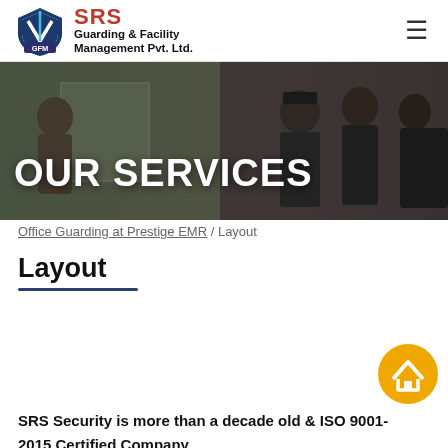SRS Guarding & Facility Management Pvt. Ltd.
[Figure (photo): Hero banner showing security guards in uniform, with overlay text 'OUR SERVICES']
OUR SERVICES
Office Guarding at Prestige EMR Layout
Layout
SRS Security is more than a decade old & ISO 9001-2015 Certified Company